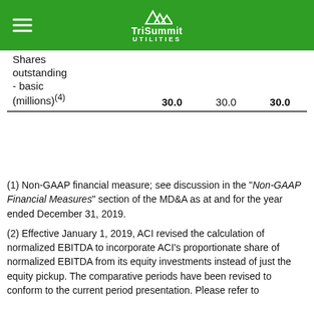TriSummit UTILITIES
|  |  |  |  |
| --- | --- | --- | --- |
| Shares outstanding - basic (millions)(4) | 30.0 | 30.0 | 30.0 |
(1) Non-GAAP financial measure; see discussion in the "Non-GAAP Financial Measures" section of the MD&A as at and for the year ended December 31, 2019.
(2) Effective January 1, 2019, ACI revised the calculation of normalized EBITDA to incorporate ACI's proportionate share of normalized EBITDA from its equity investments instead of just the equity pickup. The comparative periods have been revised to conform to the current period presentation. Please refer to